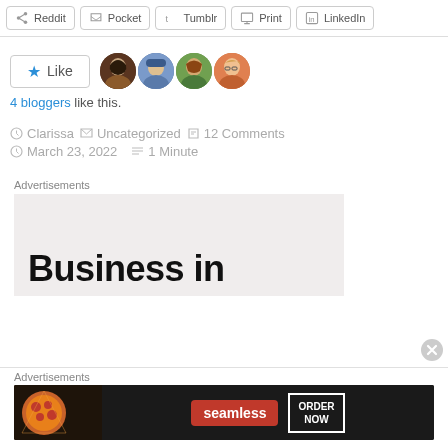[Figure (screenshot): Share buttons row: Reddit, Pocket, Tumblr, Print, LinkedIn]
[Figure (screenshot): Like button with star icon and 4 blogger avatar thumbnails]
4 bloggers like this.
Clarissa   Uncategorized   12 Comments   March 23, 2022   1 Minute
Advertisements
[Figure (screenshot): Advertisement box with large bold text 'Business in' on light pink/grey background]
Advertisements
[Figure (screenshot): Seamless food delivery advertisement banner with pizza image, seamless logo in red, and ORDER NOW button]